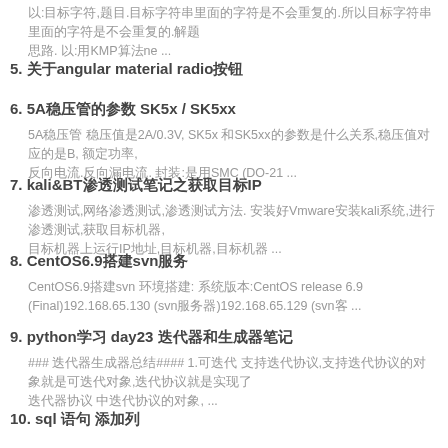以:目标字符,题目.目标字符串里面的字符是不会重复的.所以目标字符串里面的字符是不会重复的.解题思路. 以:用KMP算法ne ...
5. 关于angular material radio按钮
6. 5A稳压管的参数 SK5x / SK5xx
5A稳压管 稳压值是2A/0.3V, SK5x 和SK5xx的参数是什么关系,稳压值对应的是B, 额定功率, 反向电流.反向漏电流. 封装:是用SMC (DO-21 ...
7. kali&amp;BT渗透测试笔记之获取目标IP
渗透测试,网络渗透测试,渗透测试方法. 安装好Vmware安装kali系统,进行渗透测试,获取目标机器, 目标机器上运行IP地址,目标机器,目标机器 ...
8. CentOS6.9搭建svn服务
CentOS6.9搭建svn 环境搭建: 系统版本:CentOS release 6.9 (Final)192.168.65.130 (svn服务器)192.168.65.129 (svn客 ...
9. python学习 day23 迭代器和生成器笔记
### 迭代器生成器总结#### 1.可迭代 支持迭代协议,支持迭代协议的对象就是可迭代对象,迭代协议就是实现了 迭代器协议 中迭代协议的对象, ...
10. sql 语句 添加列